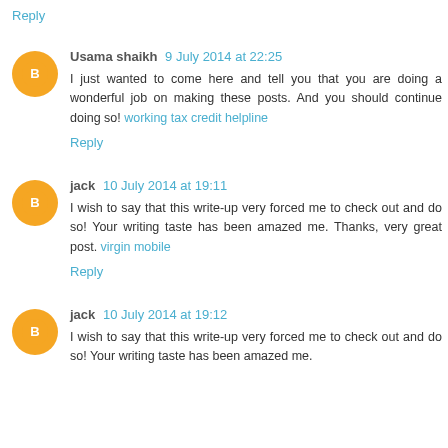Reply
Usama shaikh 9 July 2014 at 22:25
I just wanted to come here and tell you that you are doing a wonderful job on making these posts. And you should continue doing so! working tax credit helpline
Reply
jack 10 July 2014 at 19:11
I wish to say that this write-up very forced me to check out and do so! Your writing taste has been amazed me. Thanks, very great post. virgin mobile
Reply
jack 10 July 2014 at 19:12
I wish to say that this write-up very forced me to check out and do so! Your writing taste has been amazed me.